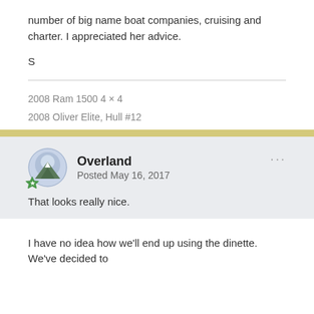number of big name boat companies, cruising and charter. I appreciated her advice.
S
2008 Ram 1500 4 × 4
2008 Oliver Elite, Hull #12
Overland
Posted May 16, 2017
That looks really nice.
I have no idea how we'll end up using the dinette.  We've decided to